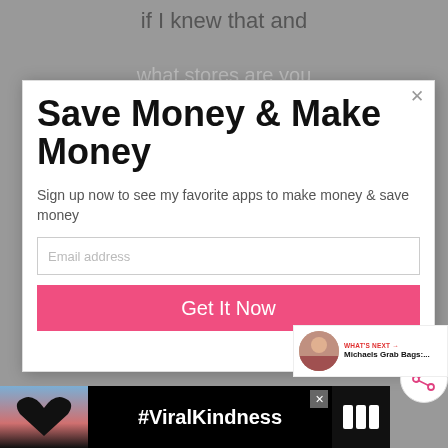if I knew that and
what stores are you
Save Money & Make Money
Sign up now to see my favorite apps to make money & save money
Email address
Get It Now
WHAT'S NEXT → Michaels Grab Bags:...
#ViralKindness